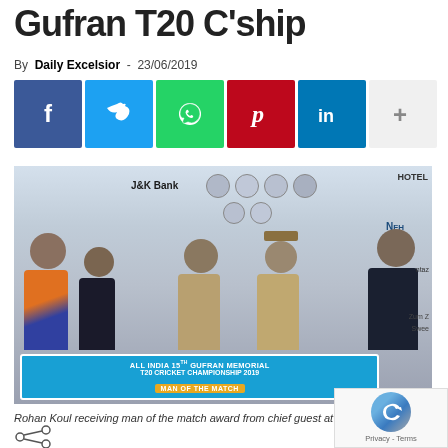Gufran T20 C'ship
By Daily Excelsior - 23/06/2019
[Figure (other): Social media share buttons: Facebook, Twitter, WhatsApp, Pinterest, LinkedIn, and a plus/more button]
[Figure (photo): Rohan Koul receiving man of the match award from chief guest at Sports event. Five people standing in front of a banner reading ALL INDIA 15TH GUFRAN MEMORIAL T20 CRICKET CHAMPIONSHIP 2019 MAN OF THE MATCH. Banner also shows J&K Bank logos and other sponsors.]
Rohan Koul receiving man of the match award from chief guest at Sports in Doda.